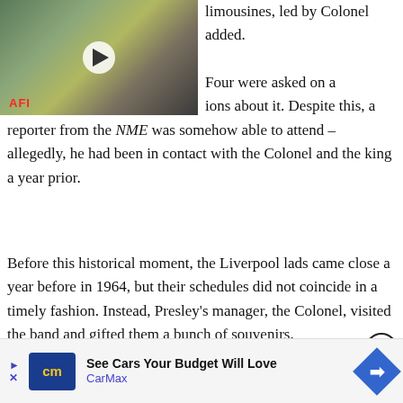[Figure (screenshot): Video thumbnail showing a scene from a vintage film/interview with AFI watermark and play button overlay]
limousines, led by Colonel added.
Four were asked on a ions about it. Despite this, a reporter from the NME was somehow able to attend – allegedly, he had been in contact with the Colonel and the king a year prior.
Before this historical moment, the Liverpool lads came close a year before in 1964, but their schedules did not coincide in a timely fashion. Instead, Presley's manager, the Colonel, visited the band and gifted them a bunch of souvenirs.
[Figure (other): Advertisement banner for CarMax - See Cars Your Budget Will Love]